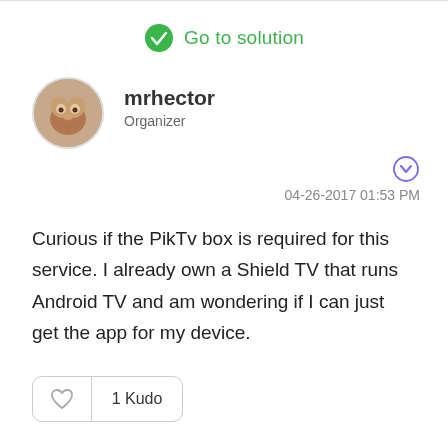Go to solution
[Figure (illustration): User avatar: circular profile photo of a small animal (hamster or similar)]
mrhector
Organizer
04-26-2017 01:53 PM
Curious if the PikTv box is required for this service.  I already own a Shield TV that runs Android TV and am wondering if I can just get the app for my device.
1 Kudo